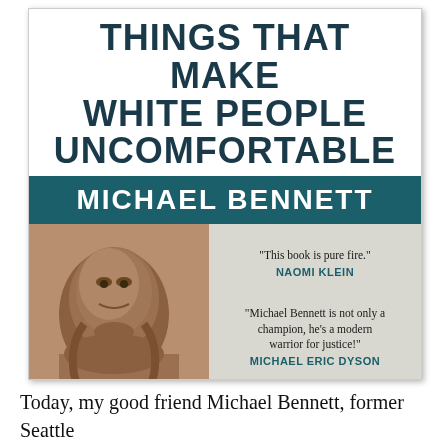[Figure (illustration): Book cover for 'Things That Make White People Uncomfortable' by Michael Bennett, published by Haymarket Books. Features bold dark teal title text on white background, author name in white on teal bar, photo of Michael Bennett (Black man with beard), and three endorsement quotes from Naomi Klein, Michael Eric Dyson, and The Stranger.]
Today, my good friend Michael Bennett, former Seattle